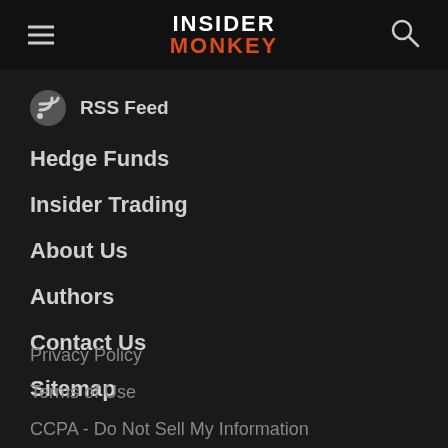INSIDER MONKEY
RSS Feed
Hedge Funds
Insider Trading
About Us
Authors
Contact Us
Sitemap
Privacy Policy
Terms of Use
CCPA - Do Not Sell My Information